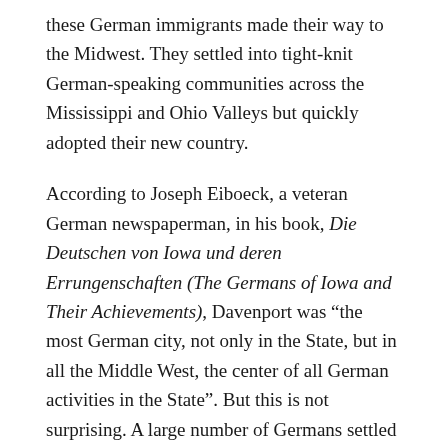these German immigrants made their way to the Midwest. They settled into tight-knit German-speaking communities across the Mississippi and Ohio Valleys but quickly adopted their new country.
According to Joseph Eiboeck, a veteran German newspaperman, in his book, Die Deutschen von Iowa und deren Errungenschaften (The Germans of Iowa and Their Achievements), Davenport was “the most German city, not only in the State, but in all the Middle West, the center of all German activities in the State”. But this is not surprising. A large number of Germans settled in Davenport. But German customs sometimes clashed with those of their Irish and Yankee neighbors. While the Germans lived on the western side of the town, non-Germans would usually reside in the eastern part, with